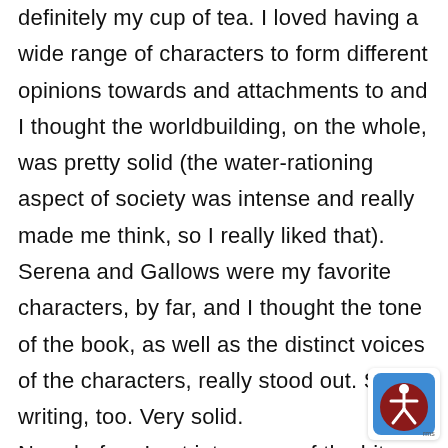definitely my cup of tea. I loved having a wide range of characters to form different opinions towards and attachments to and I thought the worldbuilding, on the whole, was pretty solid (the water-rationing aspect of society was intense and really made me think, so I really liked that). Serena and Gallows were my favorite characters, by far, and I thought the tone of the book, as well as the distinct voices of the characters, really stood out. Solid writing, too. Very solid.
Now, before I get into some of the bits that kept this novel from being an a 9 for me, score wise, I do need to offer a little